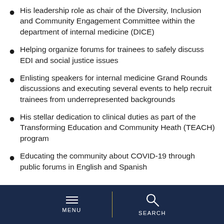His leadership role as chair of the Diversity, Inclusion and Community Engagement Committee within the department of internal medicine (DICE)
Helping organize forums for trainees to safely discuss EDI and social justice issues
Enlisting speakers for internal medicine Grand Rounds discussions and executing several events to help recruit trainees from underrepresented backgrounds
His stellar dedication to clinical duties as part of the Transforming Education and Community Heath (TEACH) program
Educating the community about COVID-19 through public forums in English and Spanish
MENU  SEARCH